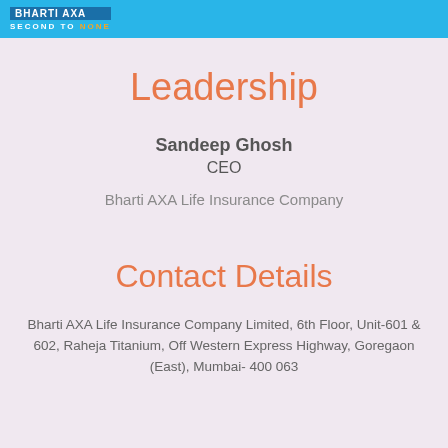SECOND TO NONE
Leadership
Sandeep Ghosh
CEO

Bharti AXA Life Insurance Company
Contact Details
Bharti AXA Life Insurance Company Limited, 6th Floor, Unit-601 & 602, Raheja Titanium, Off Western Express Highway, Goregaon (East), Mumbai- 400 063